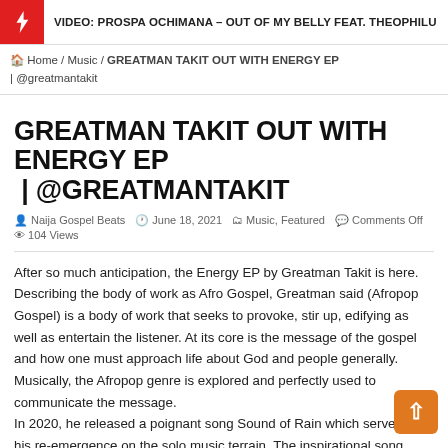VIDEO: PROSPA OCHIMANA – OUT OF MY BELLY FEAT. THEOPHILU
Home / Music / GREATMAN TAKIT OUT WITH ENERGY EP | @greatmantakit
GREATMAN TAKIT OUT WITH ENERGY EP | @GREATMANTAKIT
Naija Gospel Beats   June 18, 2021   Music, Featured   Comments Off   104 Views
After so much anticipation, the Energy EP by Greatman Takit is here. Describing the body of work as Afro Gospel, Greatman said (Afropop Gospel) is a body of work that seeks to provoke, stir up, edifying as well as entertain the listener. At its core is the message of the gospel and how one must approach life about God and people generally. Musically, the Afropop genre is explored and perfectly used to communicate the message.
In 2020, he released a poignant song Sound of Rain which served as his re-emergence on the solo music terrain. The inspirational song